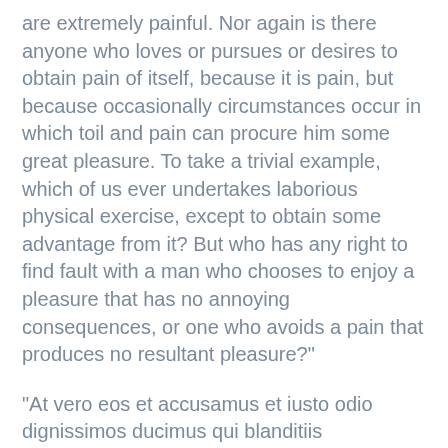are extremely painful. Nor again is there anyone who loves or pursues or desires to obtain pain of itself, because it is pain, but because occasionally circumstances occur in which toil and pain can procure him some great pleasure. To take a trivial example, which of us ever undertakes laborious physical exercise, except to obtain some advantage from it? But who has any right to find fault with a man who chooses to enjoy a pleasure that has no annoying consequences, or one who avoids a pain that produces no resultant pleasure?"
"At vero eos et accusamus et iusto odio dignissimos ducimus qui blanditiis praesentium voluptatum deleniti atque corrupti quos dolores et quas molestias excepturi sint occaecati cupiditate non provident, similique sunt in culpa qui officia deserunt mollitia animi, id est laborum et dolorum fuga. Et harum quidem rerum facilis est et expedita distinctio. Nam libero tempore, cum soluta nobis est eligendi optio cumque nihil impedit quo minus id quod maxime placeat facere possimus, omnis voluptas assumenda est, omnis dolor repellendus. Temporibus autem quibusdam et aut officiis debitis aut rerum necessitatibus saepe eveniet ut et